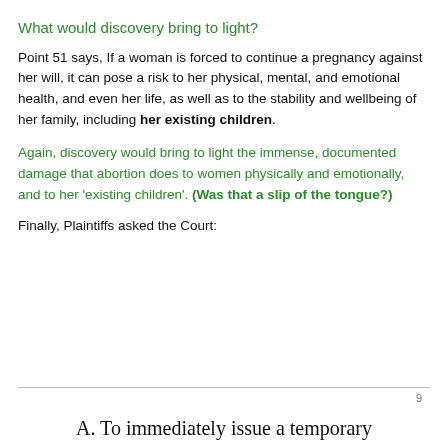What would discovery bring to light?
Point 51 says, If a woman is forced to continue a pregnancy against her will, it can pose a risk to her physical, mental, and emotional health, and even her life, as well as to the stability and wellbeing of her family, including her existing children.
Again, discovery would bring to light the immense, documented damage that abortion does to women physically and emotionally, and to her ‘existing children’. (Was that a slip of the tongue?)
Finally, Plaintiffs asked the Court:
A. To immediately issue a temporary